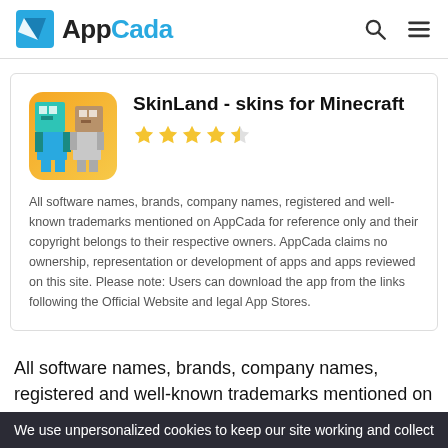AppCada
SkinLand - skins for Minecraft
All software names, brands, company names, registered and well-known trademarks mentioned on AppCada for reference only and their copyright belongs to their respective owners. AppCada claims no ownership, representation or development of apps and apps reviewed on this site. Please note: Users can download the app from the links following the Official Website and legal App Stores.
All software names, brands, company names, registered and well-known trademarks mentioned on AppCada for reference only and their copyright belongs to their respective owners.
We use unpersonalized cookies to keep our site working and collect